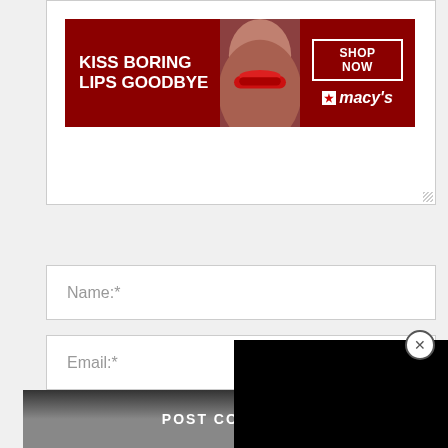[Figure (screenshot): Macy's advertisement banner with text 'KISS BORING LIPS GOODBYE', a model with red lips, 'SHOP NOW' button, and Macy's star logo]
Name:*
Email:*
Website:
Save my name, email, and website in this browser for the next time I comment.
[Figure (screenshot): Black video overlay panel covering part of the form]
POST COMMENT